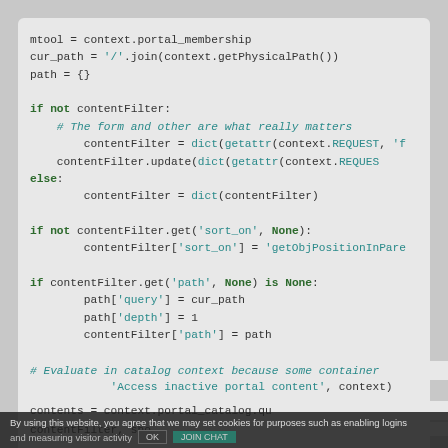[Figure (screenshot): Python source code snippet showing content filter logic with keyword highlighting. Code includes variable assignments, if/else blocks, dictionary operations, and permission checks. Partially overlaid by a cookie consent banner at the bottom.]